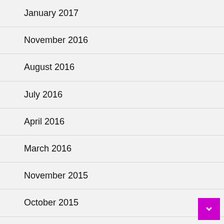January 2017
November 2016
August 2016
July 2016
April 2016
March 2016
November 2015
October 2015
August 2015
July 2015